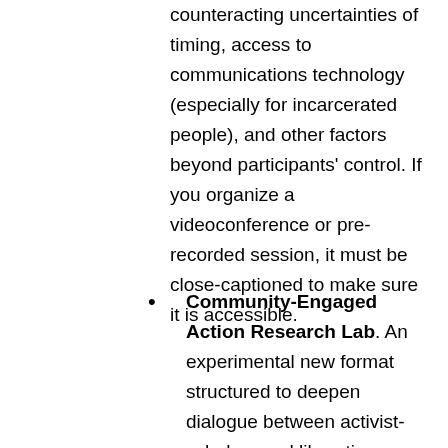counteracting uncertainties of timing, access to communications technology (especially for incarcerated people), and other factors beyond participants' control. If you organize a videoconference or pre-recorded session, it must be close-captioned to make sure it is accessible.
Community-Engaged Action Research Lab. An experimental new format structured to deepen dialogue between activist-scholars and liberation practitioners for the purpose of strengthening the work of grassroots organizations and/or social/cultural/political movements. Labs